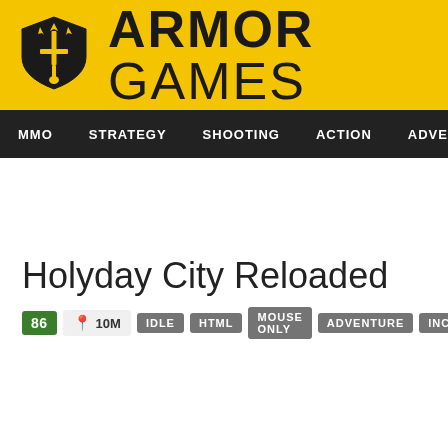[Figure (logo): Armor Games logo: yellow header bar with black shield/sword icon and bold text ARMOR GAMES]
MMO  STRATEGY  SHOOTING  ACTION  ADVENTURE  P
Holyday City Reloaded
86  📍 10M  IDLE  HTML  MOUSE ONLY  ADVENTURE  INCREMENTAL